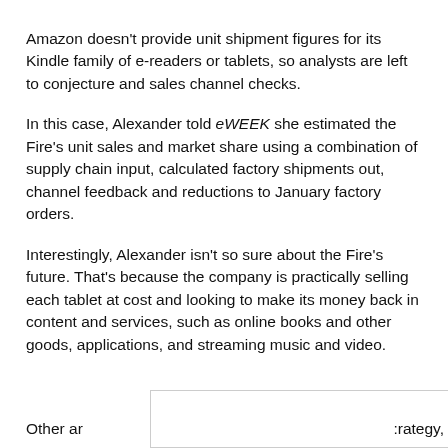Amazon doesn't provide unit shipment figures for its Kindle family of e-readers or tablets, so analysts are left to conjecture and sales channel checks.
In this case, Alexander told eWEEK she estimated the Fire's unit sales and market share using a combination of supply chain input, calculated factory shipments out, channel feedback and reductions to January factory orders.
Interestingly, Alexander isn't so sure about the Fire's future. That's because the company is practically selling each tablet at cost and looking to make its money back in content and services, such as online books and other goods, applications, and streaming music and video.
Other ar [partially obscured by popup] :rategy,